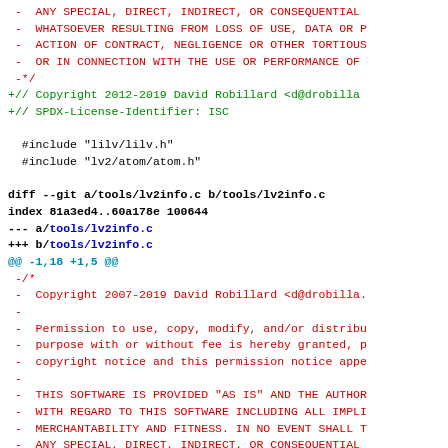Diff/patch code block showing git diff output for lv2info.c with removed red lines, added green lines, and diff headers in blue/cyan